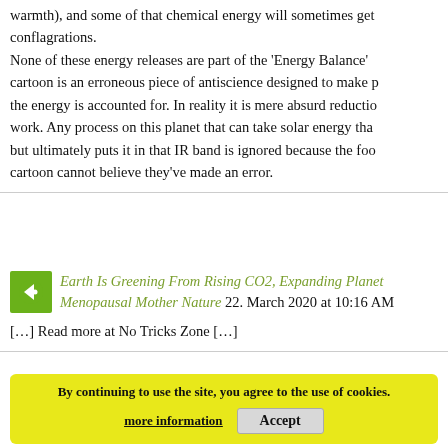warmth), and some of that chemical energy will sometimes get into conflagrations. None of these energy releases are part of the 'Energy Balance' cartoon is an erroneous piece of antiscience designed to make the energy is accounted for. In reality it is mere absurd reductio work. Any process on this planet that can take solar energy tha but ultimately puts it in that IR band is ignored because the foo cartoon cannot believe they've made an error.
Earth Is Greening From Rising CO2, Expanding Planet Menopausal Mother Nature 22. March 2020 at 10:16 AM
[…] Read more at No Tricks Zone […]
By continuing to use the site, you agree to the use of cookies. more information Accept
[…] Dr Li Wenliang treated 'inappropriately' before death from officials admit Earth Is Greening Due To Rising CO2 Experi